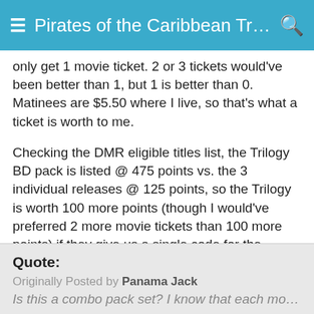☰ Pirates of the Caribbean Trilogy ... 🔍
only get 1 movie ticket. 2 or 3 tickets would've been better than 1, but 1 is better than 0. Matinees are $5.50 where I live, so that's what a ticket is worth to me.
Checking the DMR eligible titles list, the Trilogy BD pack is listed @ 475 points vs. the 3 individual releases @ 125 points, so the Trilogy is worth 100 more points (though I would've preferred 2 more movie tickets than 100 more points) if they give us a single code for the Trilogy. I already have a few thousand DMR points and no idea what to spend them on... I know I have at least until August to decide. Most of Disney's "good stuff" I already own and so many of their exclusive DVD releases are pan & scan so I don't want them.
Quote:
Originally Posted by Panama Jack
Is this a combo pack set? I know that each movie was r...